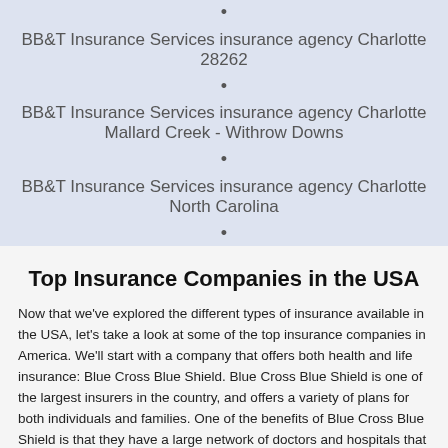BB&T Insurance Services insurance agency Charlotte 28262
BB&T Insurance Services insurance agency Charlotte Mallard Creek - Withrow Downs
BB&T Insurance Services insurance agency Charlotte North Carolina
Top Insurance Companies in the USA
Now that we've explored the different types of insurance available in the USA, let's take a look at some of the top insurance companies in America. We'll start with a company that offers both health and life insurance: Blue Cross Blue Shield. Blue Cross Blue Shield is one of the largest insurers in the country, and offers a variety of plans for both individuals and families. One of the benefits of Blue Cross Blue Shield is that they have a large network of doctors and hospitals that their members can access. Additionally, Blue Cross Blue Shield offers a variety of discounts on health and wellness products and services. However, one